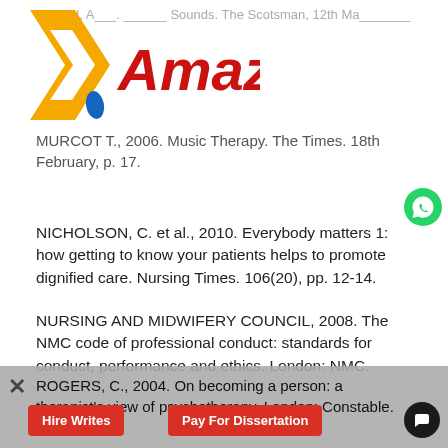[Figure (logo): Amazel990 logo with yellow and blue arrow graphic and red italic text 'Amazel990']
MA__N, ____. ______ Sounds. The Scotsman, 12th Ma_______
MURCOT T., 2006. Music Therapy. The Times. 18th February, p. 17.
NICHOLSON, C. et al., 2010. Everybody matters 1: how getting to know your patients helps to promote dignified care. Nursing Times. 106(20), pp. 12-14.
NURSING AND MIDWIFERY COUNCIL, 2008. The NMC code of professional conduct: standards for conduct, performance and ethics. London: NMC.
ROGERS, C., 2004. On becoming a person: a therapist's view of psychotherapy. London: Constable.